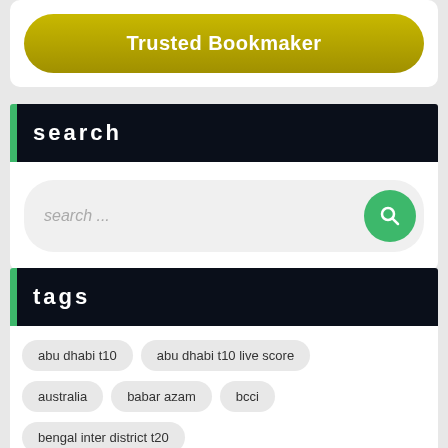[Figure (other): Trusted Bookmaker button — gold/yellow gradient pill-shaped button]
search
[Figure (other): Search bar with placeholder text 'search ...' and a green circular search icon button]
tags
abu dhabi t10
abu dhabi t10 live score
australia
babar azam
bcci
bengal inter district t20
bengal inter district t20 live score